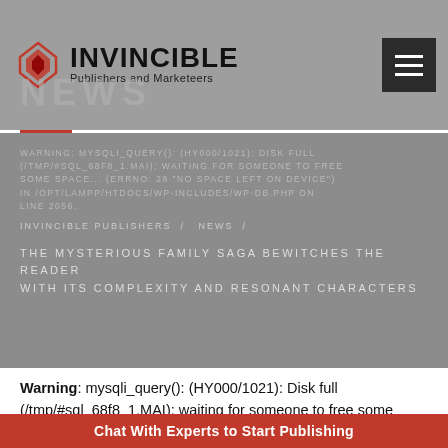INVINCIBLE Publishers and Marketeers — NEWS
WARNING: MYSQLI_QUERY(): (HY000/1021): DISK FULL (/TMP/#SQL_68F8_1.MAI); WAITING FOR SOMEONE TO FREE SOME SPACE... (ERRNO: 28 "NO SPACE LEFT ON DEVICE") IN /OPT/LAMPP/HTDOCS/WP-INCLUDES/WP-DB.PHP ON LINE 2056.
INVINCIBLE PUBLISHERS / NEWS /
THE MYSTERIOUS FAMILY SAGA BEWITCHES THE READER WITH ITS COMPLEXITY AND RESONANT CHARACTERS
Warning: mysqli_query(): (HY000/1021): Disk full (/tmp/#sql_68f8_1.MAI); waiting for someone to free some space... (errno: 28 "No space left on device") in /opt/lampp/htdocs/wp-includes/wp-db.php on line
Chat With Experts to Start Publishing